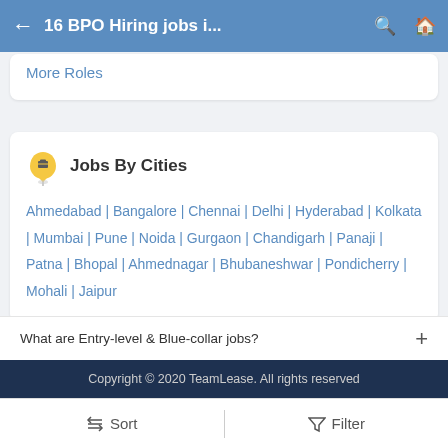← 16 BPO Hiring jobs i...
More Roles
Jobs By Cities
Ahmedabad | Bangalore | Chennai | Delhi | Hyderabad | Kolkata | Mumbai | Pune | Noida | Gurgaon | Chandigarh | Panaji | Patna | Bhopal | Ahmednagar | Bhubaneshwar | Pondicherry | Mohali | Jaipur
What are Entry-level & Blue-collar jobs? +
Copyright © 2020 TeamLease. All rights reserved